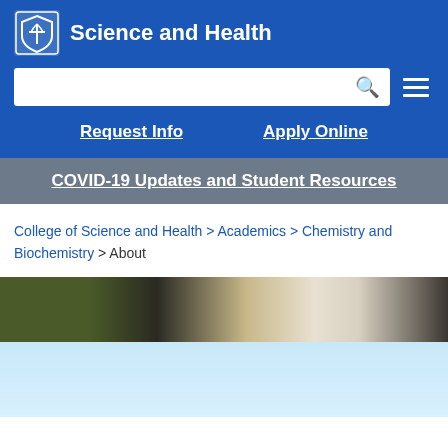Science and Health
Request Info   Apply Online
COVID-19 Updates and Student Resources
College of Science and Health > Academics > Chemistry and Biochemistry > About
[Figure (photo): Interior photo of a laboratory or academic building with lab benches, whiteboard, and overhead lights visible. Lower portion shows a light blue gradient background.]